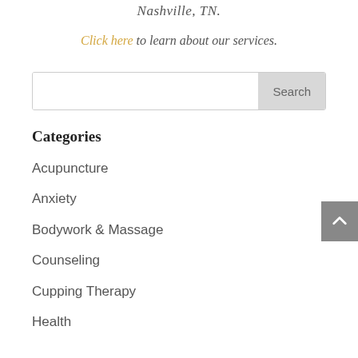Nashville, TN.
Click here to learn about our services.
Search
Categories
Acupuncture
Anxiety
Bodywork & Massage
Counseling
Cupping Therapy
Health